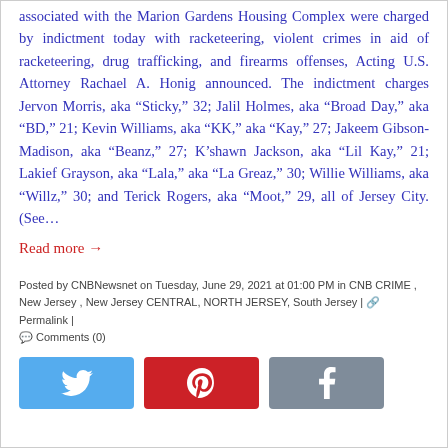associated with the Marion Gardens Housing Complex were charged by indictment today with racketeering, violent crimes in aid of racketeering, drug trafficking, and firearms offenses, Acting U.S. Attorney Rachael A. Honig announced. The indictment charges Jervon Morris, aka “Sticky,” 32; Jalil Holmes, aka “Broad Day,” aka “BD,” 21; Kevin Williams, aka “KK,” aka “Kay,” 27; Jakeem Gibson-Madison, aka “Beanz,” 27; K’shawn Jackson, aka “Lil Kay,” 21; Lakief Grayson, aka “Lala,” aka “La Greaz,” 30; Willie Williams, aka “Willz,” 30; and Terick Rogers, aka “Moot,” 29, all of Jersey City. (See...
Read more →
Posted by CNBNewsnet on Tuesday, June 29, 2021 at 01:00 PM in CNB CRIME , New Jersey , New Jersey CENTRAL, NORTH JERSEY, South Jersey | 🔗 Permalink | 💬 Comments (0)
[Figure (infographic): Three social sharing buttons: Twitter (light blue), Pinterest (red), Facebook (gray)]